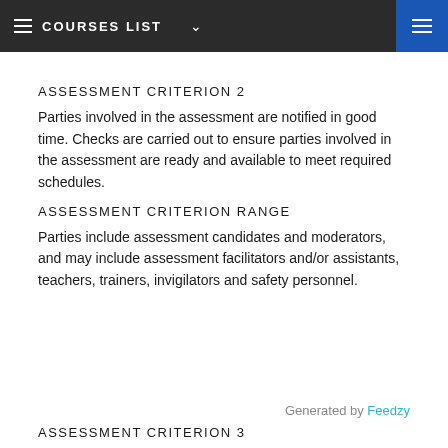COURSES LIST
ASSESSMENT CRITERION 2
Parties involved in the assessment are notified in good time. Checks are carried out to ensure parties involved in the assessment are ready and available to meet required schedules.
ASSESSMENT CRITERION RANGE
Parties include assessment candidates and moderators, and may include assessment facilitators and/or assistants, teachers, trainers, invigilators and safety personnel.
Generated by Feedzy
ASSESSMENT CRITERION 3